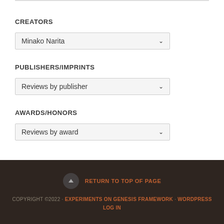CREATORS
Minako Narita
PUBLISHERS/IMPRINTS
Reviews by publisher
AWARDS/HONORS
Reviews by award
RETURN TO TOP OF PAGE COPYRIGHT ©2022 · EXPERIMENTS ON GENESIS FRAMEWORK · WORDPRESS · LOG IN